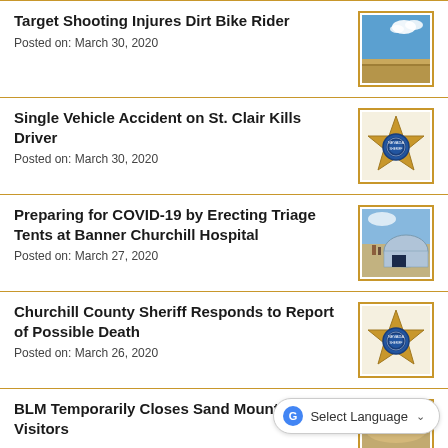Target Shooting Injures Dirt Bike Rider
Posted on: March 30, 2020
[Figure (photo): Desert landscape with blue sky]
Single Vehicle Accident on St. Clair Kills Driver
Posted on: March 30, 2020
[Figure (logo): Churchill County Sheriff star badge logo]
Preparing for COVID-19 by Erecting Triage Tents at Banner Churchill Hospital
Posted on: March 27, 2020
[Figure (photo): Triage tent being erected outdoors]
Churchill County Sheriff Responds to Report of Possible Death
Posted on: March 26, 2020
[Figure (logo): Churchill County Sheriff star badge logo]
BLM Temporarily Closes Sand Mountain to Visitors
Posted on: March 26, 2020